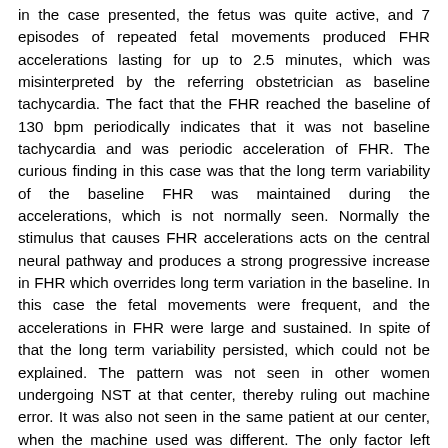in the case presented, the fetus was quite active, and 7 episodes of repeated fetal movements produced FHR accelerations lasting for up to 2.5 minutes, which was misinterpreted by the referring obstetrician as baseline tachycardia. The fact that the FHR reached the baseline of 130 bpm periodically indicates that it was not baseline tachycardia and was periodic acceleration of FHR. The curious finding in this case was that the long term variability of the baseline FHR was maintained during the accelerations, which is not normally seen. Normally the stimulus that causes FHR accelerations acts on the central neural pathway and produces a strong progressive increase in FHR which overrides long term variation in the baseline. In this case the fetal movements were frequent, and the accelerations in FHR were large and sustained. In spite of that the long term variability persisted, which could not be explained. The pattern was not seen in other women undergoing NST at that center, thereby ruling out machine error. It was also not seen in the same patient at our center, when the machine used was different. The only factor left was the state of the myocardium of the baby, which has its own intrinsic effect on the FHR variability. However the